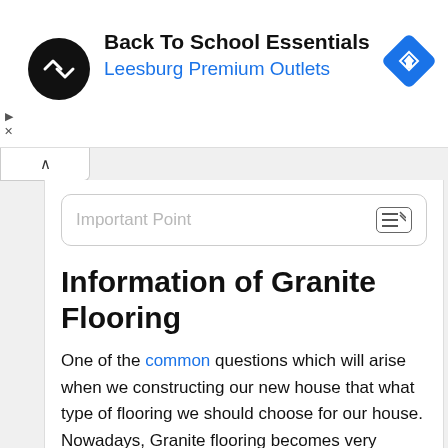[Figure (logo): Ad banner with logo for 'Back To School Essentials – Leesburg Premium Outlets' with circular black logo and blue navigation diamond icon]
Information of  Granite Flooring
One of the common questions which will arise when we constructing our new house that what type of flooring we should choose for our house. Nowadays, Granite flooring becomes very popular and used almost everywhere in the interior of the house.